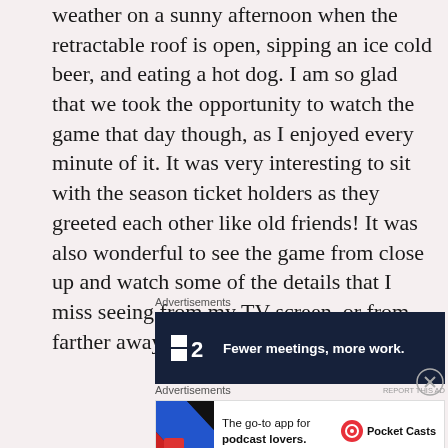weather on a sunny afternoon when the retractable roof is open, sipping an ice cold beer, and eating a hot dog. I am so glad that we took the opportunity to watch the game that day though, as I enjoyed every minute of it. It was very interesting to sit with the season ticket holders as they greeted each other like old friends! It was also wonderful to see the game from close up and watch some of the details that I miss seeing from my TV screen, or from farther away in the bleacher seats.
[Figure (other): Advertisement banner for Fewer meetings, more work - dark background with logo]
[Figure (other): Advertisement banner for Pocket Casts - The go-to app for podcast lovers]